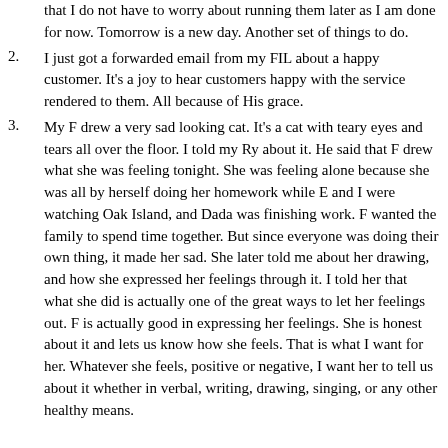that I do not have to worry about running them later as I am done for now. Tomorrow is a new day. Another set of things to do.
I just got a forwarded email from my FIL about a happy customer. It's a joy to hear customers happy with the service rendered to them. All because of His grace.
My F drew a very sad looking cat. It's a cat with teary eyes and tears all over the floor. I told my Ry about it. He said that F drew what she was feeling tonight. She was feeling alone because she was all by herself doing her homework while E and I were watching Oak Island, and Dada was finishing work. F wanted the family to spend time together. But since everyone was doing their own thing, it made her sad. She later told me about her drawing, and how she expressed her feelings through it. I told her that what she did is actually one of the great ways to let her feelings out. F is actually good in expressing her feelings. She is honest about it and lets us know how she feels. That is what I want for her. Whatever she feels, positive or negative, I want her to tell us about it whether in verbal, writing, drawing, singing, or any other healthy means.